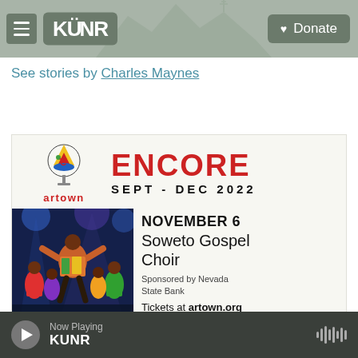KUNR — Donate
See stories by Charles Maynes
[Figure (infographic): Artown Encore Sept-Dec 2022 advertisement with logo, performer photo, and November 6 Soweto Gospel Choir event details. Sponsored by Nevada State Bank. Tickets at artown.org]
Now Playing KUNR